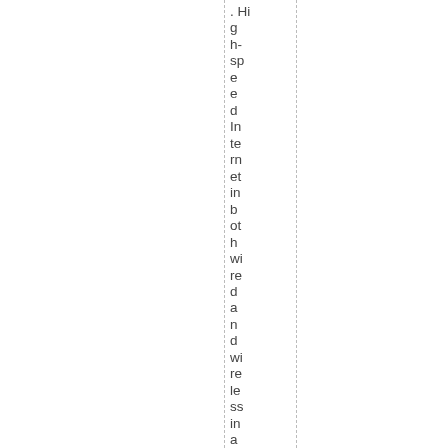. High-speed Internet in both wired and wireless in abe